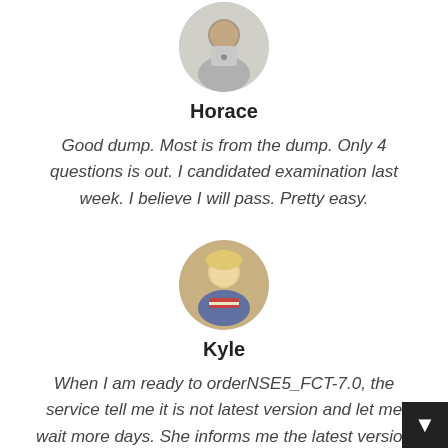[Figure (photo): Circular avatar photo of a man named Horace, wearing a t-shirt]
Horace
Good dump. Most is from the dump. Only 4 questions is out. I candidated examination last week. I believe I will pass. Pretty easy.
[Figure (photo): Circular avatar photo of a woman named Kyle, holding books]
Kyle
When I am ready to orderNSE5_FCT-7.0, the service tell me it is not latest version and let me wait more days. She informs me the latest version two days before my exam date. Based on my trust I decide to order. I study day and night in two